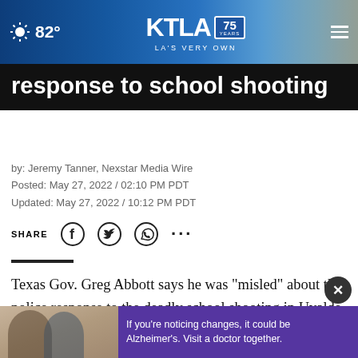82° KTLA 75 YEARS LA'S VERY OWN
response to school shooting
by: Jeremy Tanner, Nexstar Media Wire
Posted: May 27, 2022 / 02:10 PM PDT
Updated: May 27, 2022 / 10:12 PM PDT
SHARE
Texas Gov. Greg Abbott says he was "misled" about the police response to the deadly school shooting in Uvalde on Tuesday.
During ... was repeating what he had been told ... The information on
[Figure (screenshot): Advertisement overlay showing two men and purple Alzheimer's awareness ad text: If you're noticing changes, it could be Alzheimer's. Visit a doctor together.]